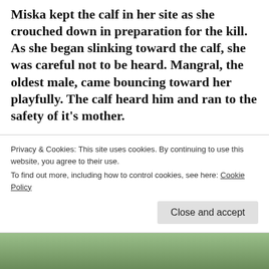Miska kept the calf in her site as she crouched down in preparation for the kill. As she began slinking toward the calf, she was careful not to be heard. Mangral, the oldest male, came bouncing toward her playfully. The calf heard him and ran to the safety of it's mother.
The rancher dropped his gun.
Wolves are not the only predators in the
Privacy & Cookies: This site uses cookies. By continuing to use this website, you agree to their use.
To find out more, including how to control cookies, see here: Cookie Policy
Close and accept
[Figure (photo): Bottom strip showing a partial image of a wolf or animal in a green/natural setting]